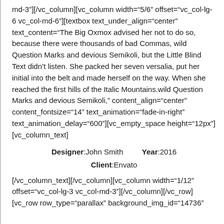md-3"][/vc_column][vc_column width="5/6" offset="vc_col-lg-6 vc_col-md-6"][textbox text_under_align="center" text_content="The Big Oxmox advised her not to do so, because there were thousands of bad Commas, wild Question Marks and devious Semikoli, but the Little Blind Text didn't listen. She packed her seven versalia, put her initial into the belt and made herself on the way. When she reached the first hills of the Italic Mountains.wild Question Marks and devious Semikoli," content_align="center" content_fontsize="14" text_animation="fade-in-right" text_animation_delay="600"][vc_empty_space height="12px"][vc_column_text]
Designer:John Smith    Year:2016
Client:Envato
[/vc_column_text][/vc_column][vc_column width="1/12" offset="vc_col-lg-3 vc_col-md-3"][/vc_column][/vc_row][vc_row row_type="parallax" background_img_id="14736"